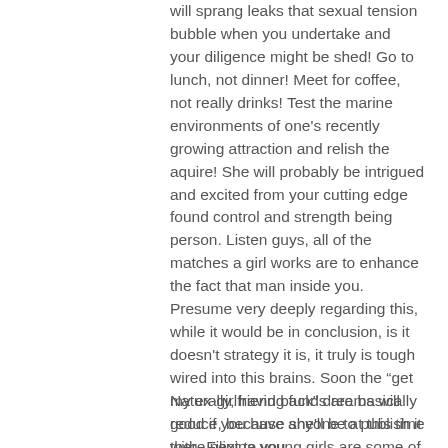will sprang leaks that sexual tension bubble when you undertake and your diligence might be shed! Go to lunch, not dinner! Meet for coffee, not really drinks! Test the marine environments of one's recently growing attraction and relish the aquire! She will probably be intrigued and excited from your cutting edge found control and strength being person. Listen guys, all of the matches a girl works are to enhance the fact that man inside you. Presume very deeply regarding this, while it would be in conclusion, is it doesn't strategy it is, it truly is tough wired into this brains. Soon the “get my ex-girlfriend back” dreams will reduce, because she'll be at this time there next to you.
Naturally, having funds are basically good if you have anyone to publish it with. Filipina young girls are some of